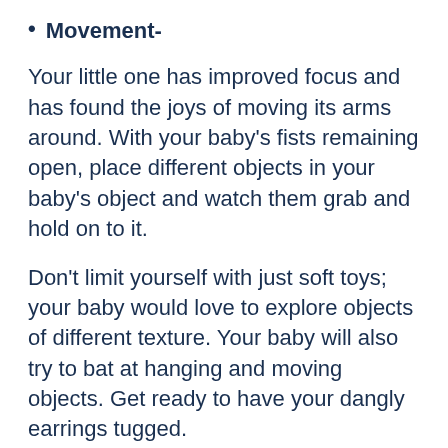Movement-
Your little one has improved focus and has found the joys of moving its arms around. With your baby’s fists remaining open, place different objects in your baby’s object and watch them grab and hold on to it.
Don’t limit yourself with just soft toys; your baby would love to explore objects of different texture. Your baby will also try to bat at hanging and moving objects. Get ready to have your dangly earrings tugged.